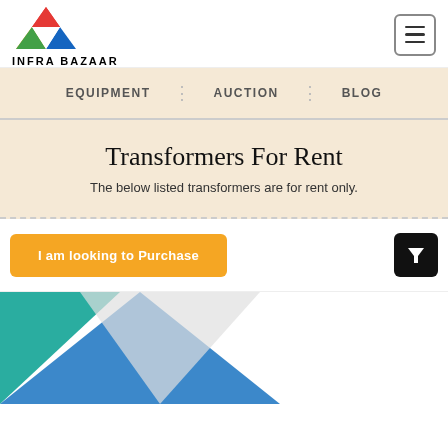[Figure (logo): Infra Bazaar logo with colorful triangle/arrow icon and bold text INFRA BAZAAR below]
EQUIPMENT  AUCTION  BLOG
Transformers For Rent
The below listed transformers are for rent only.
I am looking to Purchase
[Figure (illustration): Partial card with teal and blue triangle/geometric shapes visible at bottom of page]